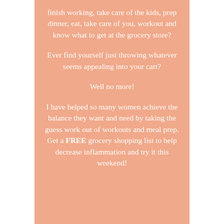finish working, take care of the kids, prep dinner, eat, take care of you, workout and know what to get at the grocery store?
Ever find yourself just throwing whatever seems appealing into your cart?
Well no more!
I have helped so many women achieve the balance they want and need by taking the guess work out of workouts and meal prep. Get a FREE grocery shopping list to help decrease inflammation and try it this weekend!